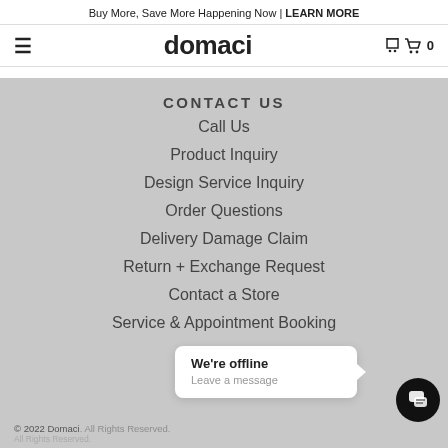Buy More, Save More Happening Now | LEARN MORE
domaci
CONTACT US
Call Us
Product Inquiry
Design Service Inquiry
Order Questions
Delivery Damage Claim
Return + Exchange Request
Contact a Store
Service & Appointment Booking
We're offline
Leave a message
© 2022 Domaci. All Rights Reserved.